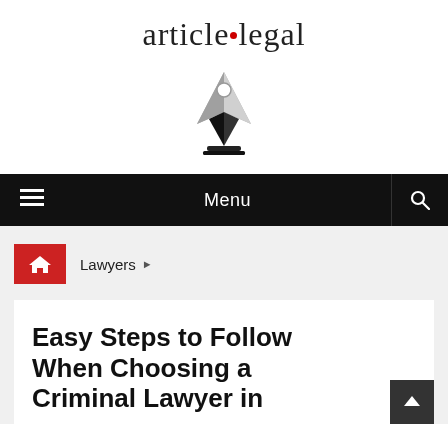[Figure (logo): article.legal logo with pen nib icon below the text]
Menu
Lawyers ▶
Easy Steps to Follow When Choosing a Criminal Lawyer in